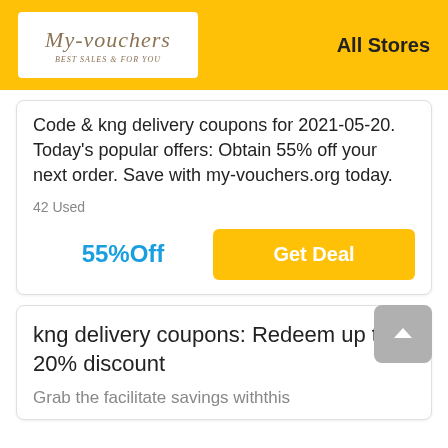My-vouchers — BEST SALES FOR YOU | All Stores
Code & kng delivery coupons for 2021-05-20. Today's popular offers: Obtain 55% off your next order. Save with my-vouchers.org today.
42 Used
55%Off
Get Deal
kng delivery coupons: Redeem up to a 20% discount
Grab the facilitate savings withthis